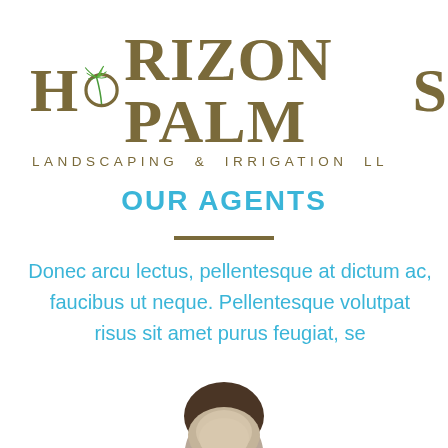[Figure (logo): Horizon Palms Landscaping & Irrigation LLC logo with palm leaf replacing the 'O' in Horizon, olive/tan colored text]
OUR AGENTS
Donec arcu lectus, pellentesque at dictum ac, faucibus ut neque. Pellentesque volutpat risus sit amet purus feugiat, se
[Figure (photo): Partial photo of a person's head/face, cropped at bottom of page]